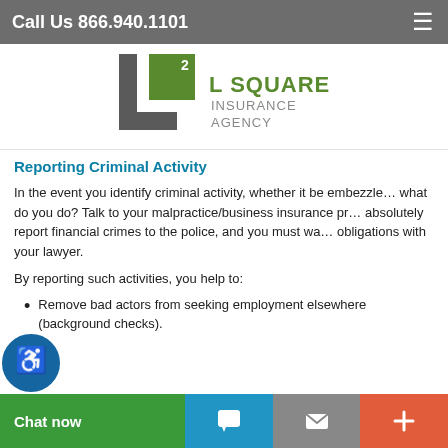Call Us 866.940.1101
[Figure (logo): L Squared Insurance Agency logo — grey letter L with green square containing superscript 2, text L SQUARED INSURANCE AGENCY]
Reporting Criminal Activity
In the event you identify criminal activity, whether it be embezzlement, what do you do? Talk to your malpractice/business insurance provider, absolutely report financial crimes to the police, and you must weigh your obligations with your lawyer.
By reporting such activities, you help to:
Remove bad actors from seeking employment elsewhere (background checks).
Chat now | message icon | + icon